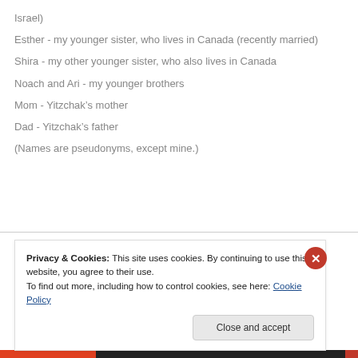Israel)
Esther - my younger sister, who lives in Canada (recently married)
Shira - my other younger sister, who also lives in Canada
Noach and Ari - my younger brothers
Mom - Yitzchak’s mother
Dad - Yitzchak’s father
(Names are pseudonyms, except mine.)
Privacy & Cookies: This site uses cookies. By continuing to use this website, you agree to their use.
To find out more, including how to control cookies, see here: Cookie Policy